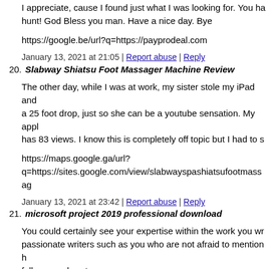I appreciate, cause I found just what I was looking for. You ha hunt! God Bless you man. Have a nice day. Bye
https://google.be/url?q=https://payprodeal.com
January 13, 2021 at 21:05 | Report abuse | Reply
20. Slabway Shiatsu Foot Massager Machine Review
The other day, while I was at work, my sister stole my iPad and a 25 foot drop, just so she can be a youtube sensation. My appl has 83 views. I know this is completely off topic but I had to s
https://maps.google.ga/url?q=https://sites.google.com/view/slabwayspashiatsufootmassag
January 13, 2021 at 23:42 | Report abuse | Reply
21. microsoft project 2019 professional download
You could certainly see your expertise within the work you wr passionate writers such as you who are not afraid to mention h follow your heart.
http://www.mhes.tyc.edu.tw/userinfo.php?uid=2149952
January 14, 2021 at 06:27 | Report abuse | Reply
22. office 2019 professional